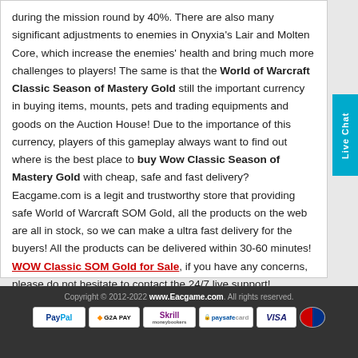during the mission round by 40%. There are also many significant adjustments to enemies in Onyxia's Lair and Molten Core, which increase the enemies' health and bring much more challenges to players! The same is that the World of Warcraft Classic Season of Mastery Gold still the important currency in buying items, mounts, pets and trading equipments and goods on the Auction House! Due to the importance of this currency, players of this gameplay always want to find out where is the best place to buy Wow Classic Season of Mastery Gold with cheap, safe and fast delivery? Eacgame.com is a legit and trustworthy store that providing safe World of Warcraft SOM Gold, all the products on the web are all in stock, so we can make a ultra fast delivery for the buyers! All the products can be delivered within 30-60 minutes! WOW Classic SOM Gold for Sale, if you have any concerns, please do not hesitate to contact the 24/7 live support!
Copyright © 2012-2022 www.Eacgame.com. All rights reserved.